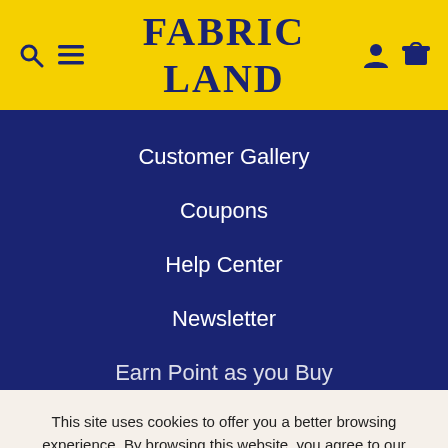FABRIC LAND
Customer Gallery
Coupons
Help Center
Newsletter
Earn Point as you Buy
This site uses cookies to offer you a better browsing experience. By browsing this website, you agree to our use of cookies.
MORE INFO
ACCEPT